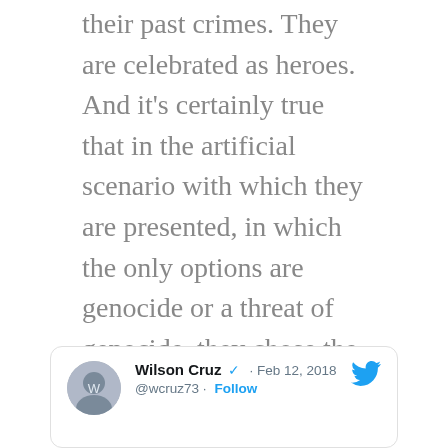their past crimes. They are celebrated as heroes. And it's certainly true that in the artificial scenario with which they are presented, in which the only options are genocide or a threat of genocide, they chose the lesser of two evils.
So far, so Starfleet.
Except for the fact that Starfleet sanctioned genocide in the first place. But let's move past that.
[Figure (screenshot): Embedded tweet by Wilson Cruz (@wcruz73) dated Feb 12, 2018 with Twitter bird logo and Follow link]